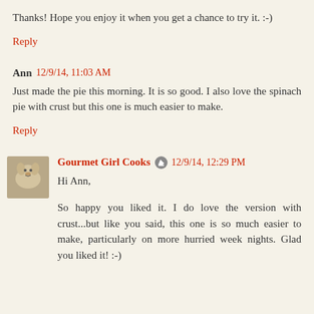Thanks! Hope you enjoy it when you get a chance to try it. :-)
Reply
Ann  12/9/14, 11:03 AM
Just made the pie this morning. It is so good. I also love the spinach pie with crust but this one is much easier to make.
Reply
Gourmet Girl Cooks  12/9/14, 12:29 PM
Hi Ann,

So happy you liked it. I do love the version with crust...but like you said, this one is so much easier to make, particularly on more hurried week nights. Glad you liked it! :-)